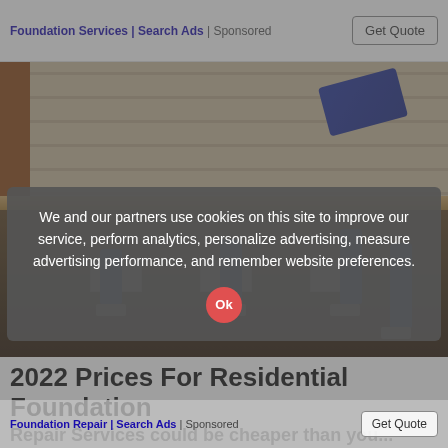Foundation Services | Search Ads | Sponsored
[Figure (photo): Photograph of a residential house foundation being lifted with blue hydraulic jacks. The house has horizontal wood siding. Concrete block piers and blue screw jacks support the structure. Construction debris on the ground. Trees visible in background on left.]
2022 Prices For Residential Foundation
Repair Services could be cheaper than you...
We and our partners use cookies on this site to improve our service, perform analytics, personalize advertising, measure advertising performance, and remember website preferences.
Ok
Foundation Repair | Search Ads | Sponsored
Get Quote